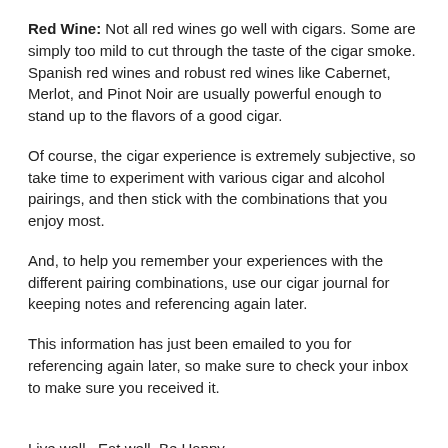Red Wine: Not all red wines go well with cigars. Some are simply too mild to cut through the taste of the cigar smoke. Spanish red wines and robust red wines like Cabernet, Merlot, and Pinot Noir are usually powerful enough to stand up to the flavors of a good cigar.
Of course, the cigar experience is extremely subjective, so take time to experiment with various cigar and alcohol pairings, and then stick with the combinations that you enjoy most.
And, to help you remember your experiences with the different pairing combinations, use our cigar journal for keeping notes and referencing again later.
This information has just been emailed to you for referencing again later, so make sure to check your inbox to make sure you received it.
Live well.  Eat well. Be Happy.